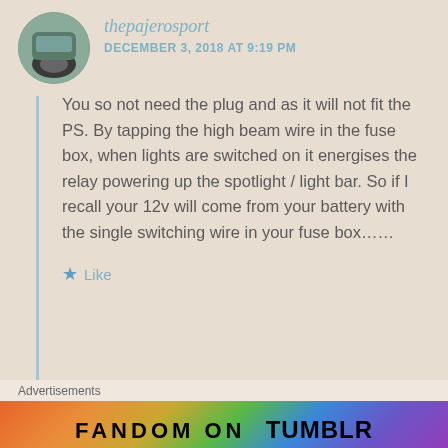thepajerosport
DECEMBER 3, 2018 AT 9:19 PM
You so not need the plug and as it will not fit the PS. By tapping the high beam wire in the fuse box, when lights are switched on it energises the relay powering up the spotlight / light bar. So if I recall your 12v will come from your battery with the single switching wire in your fuse box……
Like
Advertisements
[Figure (illustration): Fandom on Tumblr advertisement banner with colorful gradient background (orange, yellow, green, blue, purple) and bold text reading FANDOM ON tumblr]